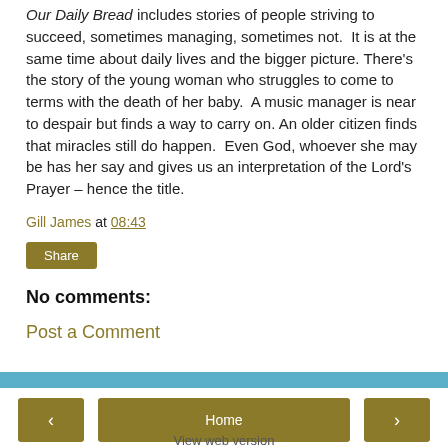Our Daily Bread includes stories of people striving to succeed, sometimes managing, sometimes not. It is at the same time about daily lives and the bigger picture. There's the story of the young woman who struggles to come to terms with the death of her baby. A music manager is near to despair but finds a way to carry on. An older citizen finds that miracles still do happen. Even God, whoever she may be has her say and gives us an interpretation of the Lord's Prayer – hence the title.
Gill James at 08:43
Share
No comments:
Post a Comment
Home | View web version